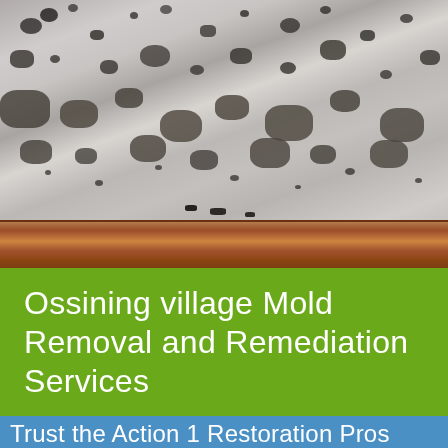[Figure (photo): Close-up photograph of a mold-covered wall with black and dark grey mold patches on a white/grey surface, with a wooden baseboard at the bottom of the wall.]
Ossining village Mold Removal and Remediation Services
Trust the Action 1 Restoration Pros